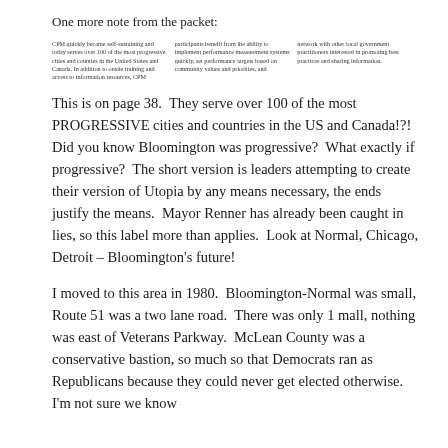One more note from the packet:
[Figure (screenshot): Three-column text excerpt from a packet, describing CPM: CPM quickly became self-sustaining and today serves over 100 of the most progressive cities and counties in the United States and Canada. In addition to onsite training and access to information resources, CPM / participants benefit from the ability to implement performance measurement systems quickly, set performance targets based on community values and priorities, and / network with other local government practitioners interested in promoting best practices and sharing information.]
This is on page 38.  They serve over 100 of the most PROGRESSIVE cities and countries in the US and Canada!?!  Did you know Bloomington was progressive?  What exactly if progressive?  The short version is leaders attempting to create their version of Utopia by any means necessary, the ends justify the means.  Mayor Renner has already been caught in lies, so this label more than applies.  Look at Normal, Chicago, Detroit – Bloomington's future!
I moved to this area in 1980.  Bloomington-Normal was small, Route 51 was a two lane road.  There was only 1 mall, nothing was east of Veterans Parkway.  McLean County was a conservative bastion, so much so that Democrats ran as Republicans because they could never get elected otherwise.  I'm not sure we know